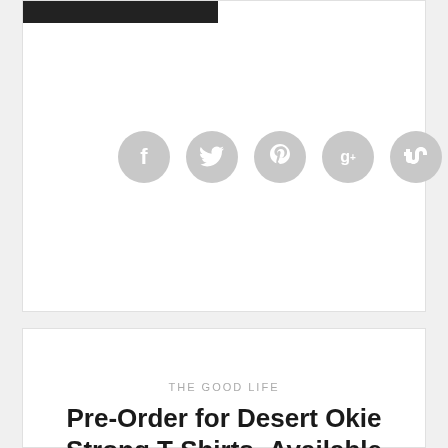[Figure (other): Social sharing icons row: Facebook (f), Twitter (bird), Pinterest (p), Google+ (g+), StumbleUpon (su) — all grey circles]
THE GOOD LIFE
Pre-Order for Desert Okie Strong T-Shirts- Available June 9th-24th, 2018
We are proud to be able to offer the Desert Okie Strong t-shirts that we wore